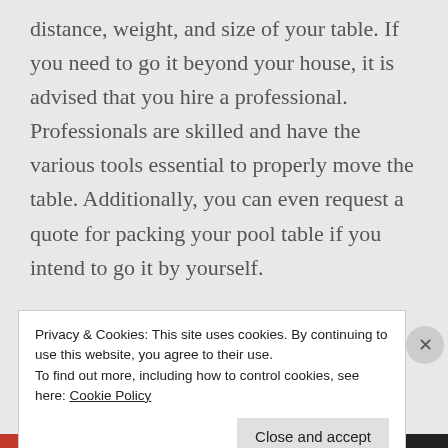distance, weight, and size of your table. If you need to go it beyond your house, it is advised that you hire a professional. Professionals are skilled and have the various tools essential to properly move the table. Additionally, you can even request a quote for packing your pool table if you intend to go it by yourself.
Avoiding injuries when hiring a pool table movers service
Privacy & Cookies: This site uses cookies. By continuing to use this website, you agree to their use.
To find out more, including how to control cookies, see here: Cookie Policy
Close and accept